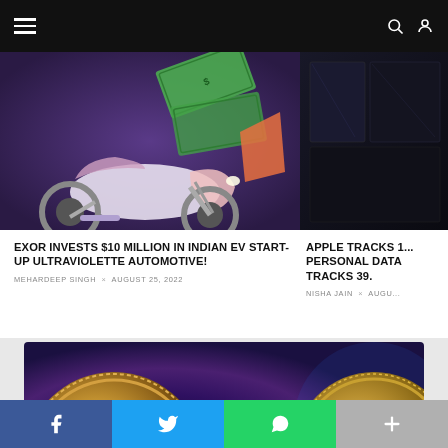Navigation bar with hamburger menu, search and user icons
[Figure (photo): Electric motorcycle (Ultraviolette) with money bills graphic on purple/pink gradient background]
[Figure (photo): Dark glass/tech surface close-up photo]
EXOR INVESTS $10 MILLION IN INDIAN EV START-UP ULTRAVIOLETTE AUTOMOTIVE!
MEHARDEEP SINGH × AUGUST 25, 2022
APPLE TRACKS 1... PERSONAL DATA TRACKS 39.
NISHA JAIN × AUGU...
[Figure (photo): Close-up of Bitcoin and cryptocurrency coins on blue/purple background]
Social share bar: Facebook, Twitter, WhatsApp, More